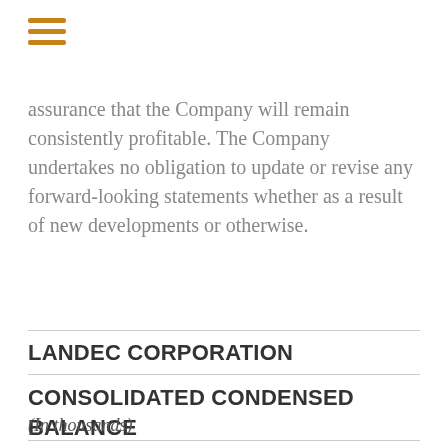[Figure (other): Hamburger menu icon with three horizontal orange bars]
assurance that the Company will remain consistently profitable. The Company undertakes no obligation to update or revise any forward-looking statements whether as a result of new developments or otherwise.
LANDEC CORPORATION
CONSOLIDATED CONDENSED BALANCE SHEETS
(In thousands)